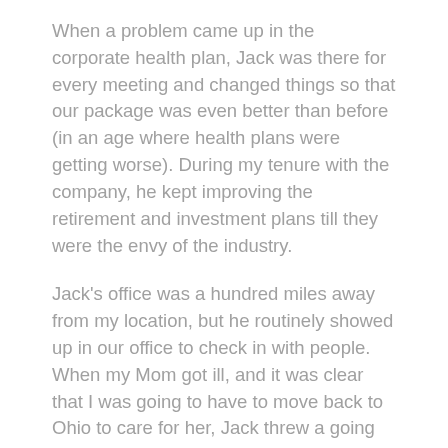When a problem came up in the corporate health plan, Jack was there for every meeting and changed things so that our package was even better than before (in an age where health plans were getting worse). During my tenure with the company, he kept improving the retirement and investment plans till they were the envy of the industry.
Jack's office was a hundred miles away from my location, but he routinely showed up in our office to check in with people. When my Mom got ill, and it was clear that I was going to have to move back to Ohio to care for her, Jack threw a going away party. In speaking about my contributions, he teared up. I'd worked for the company less than eighteen months.